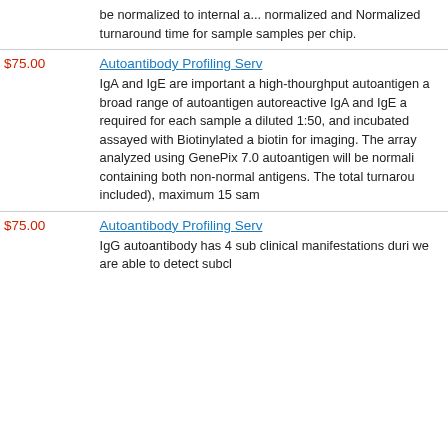| Price | Service / Description |
| --- | --- |
|  | be normalized to internal a... normalized and Normalized turnaround time for sample samples per chip. |
| $75.00 | Autoantibody Profiling Serv...
IgA and IgE are important a high-thourghput autoantigen a broad range of autoantigen autoreactive IgA and IgE a required for each sample a diluted 1:50, and incubated assayed with Biotinylated a biotin for imaging. The array analyzed using GenePix 7.0 autoantigen will be normali containing both non-normal antigens. The total turnarou included), maximum 15 sam |
| $75.00 | Autoantibody Profiling Serv...
IgG autoantibody has 4 sub clinical manifestations dur we are able to detect subcl |